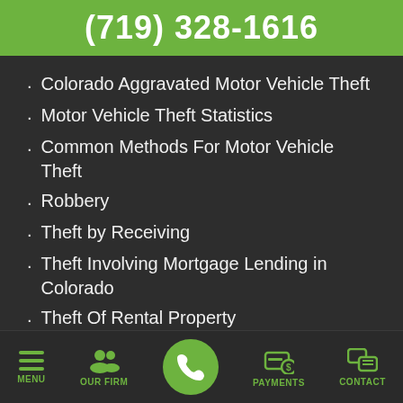(719) 328-1616
Colorado Aggravated Motor Vehicle Theft
Motor Vehicle Theft Statistics
Common Methods For Motor Vehicle Theft
Robbery
Theft by Receiving
Theft Involving Mortgage Lending in Colorado
Theft Of Rental Property
What Are The Penalties For Theft Of
MENU  OUR FIRM  [phone]  PAYMENTS  CONTACT